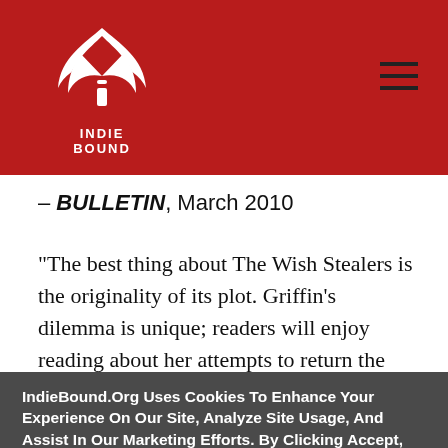[Figure (logo): IndieBound logo with stylized book/wing graphic in white on red background, text INDIE BOUND below]
– BULLETIN, March 2010
"The best thing about The Wish Stealers is the originality of its plot. Griffin's dilemma is unique; readers will enjoy reading about her attempts to return the wishes while trying to navigate the trials of
IndieBound.Org Uses Cookies To Enhance Your Experience On Our Site, Analyze Site Usage, And Assist In Our Marketing Efforts. By Clicking Accept, You Agree To The Storing Of Cookies On Your Device. View Our Cookie Policy.
Give me more info
Accept all Cookies